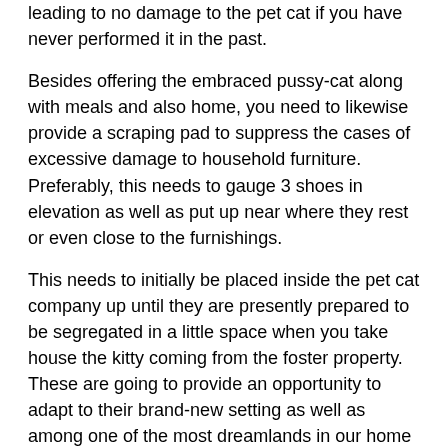leading to no damage to the pet cat if you have never performed it in the past.
Besides offering the embraced pussy-cat along with meals and also home, you need to likewise provide a scraping pad to suppress the cases of excessive damage to household furniture. Preferably, this needs to gauge 3 shoes in elevation as well as put up near where they rest or even close to the furnishings.
This needs to initially be placed inside the pet cat company up until they are presently prepared to be segregated in a little space when you take house the kitty coming from the foster property. These are going to provide an opportunity to adapt to their brand-new setting as well as among one of the most dreamlands in our home is the washroom that needs to possess a pet cat bedroom, young water, a frying pan, and also meals.
For the instance, there is presently a feline in the home and also the one you took on is going to incorporate a variety of animals, you need to intend a 2 full-week